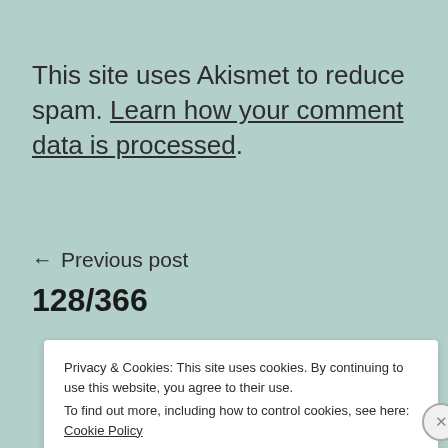This site uses Akismet to reduce spam. Learn how your comment data is processed.
← Previous post
128/366
Privacy & Cookies: This site uses cookies. By continuing to use this website, you agree to their use. To find out more, including how to control cookies, see here: Cookie Policy
Close and accept